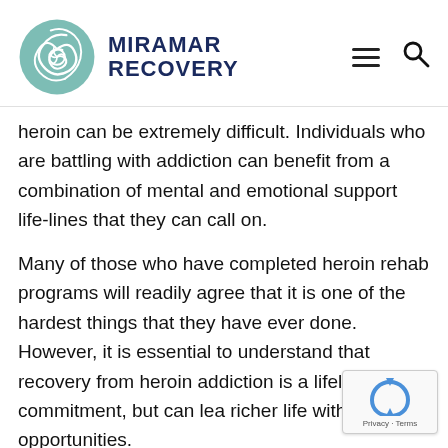[Figure (logo): Miramar Recovery logo: teal nautilus shell icon with 'MIRAMAR RECOVERY' text in dark navy bold, hamburger menu icon and search icon on the right]
heroin can be extremely difficult. Individuals who are battling with addiction can benefit from a combination of mental and emotional support life-lines that they can call on.
Many of those who have completed heroin rehab programs will readily agree that it is one of the hardest things that they have ever done. However, it is essential to understand that recovery from heroin addiction is a lifelong commitment, but can lea richer life with better opportunities.